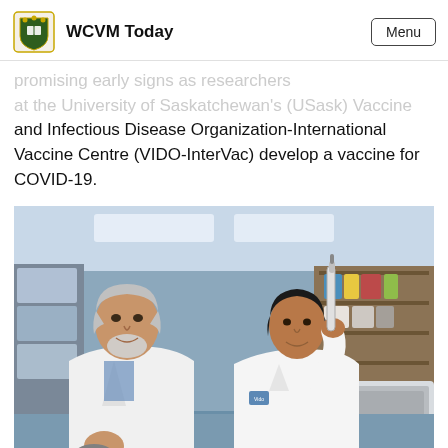WCVM Today
…promising early signs as researchers at the University of Saskatchewan's (USask) Vaccine and Infectious Disease Organization-International Vaccine Centre (VIDO-InterVac) develop a vaccine for COVID-19.
[Figure (photo): Two researchers in white lab coats in a laboratory setting. The older researcher on the left holds a small animal (mouse) while the younger researcher on the right holds a pipette. Lab equipment and shelving visible in background.]